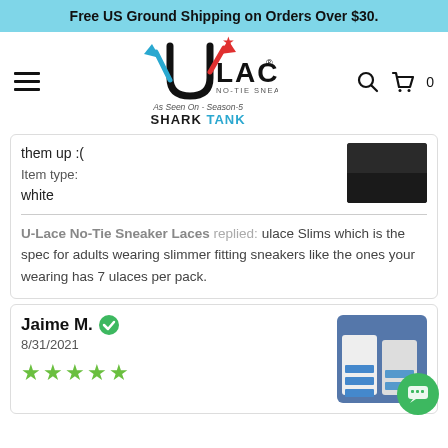Free US Ground Shipping on Orders Over $30.
[Figure (logo): U-Lace No-Tie Sneaker Laces logo with hamburger menu, search and cart icons, and Shark Tank Season 5 badge]
them up :(
Item type:
white
U-Lace No-Tie Sneaker Laces replied: ulace Slims which is the spec for adults wearing slimmer fitting sneakers like the ones your wearing has 7 ulaces per pack.
Jaime M.
8/31/2021
★★★★★